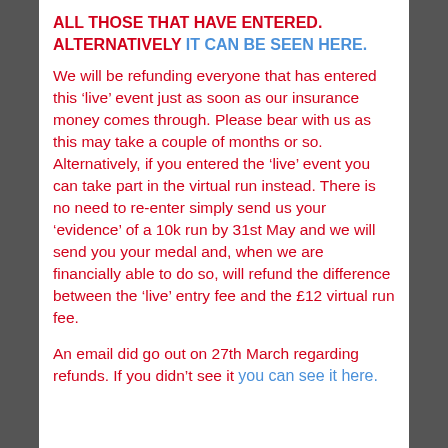ALL THOSE THAT HAVE ENTERED. ALTERNATIVELY IT CAN BE SEEN HERE.
We will be refunding everyone that has entered this ‘live’ event just as soon as our insurance money comes through. Please bear with us as this may take a couple of months or so. Alternatively, if you entered the ‘live’ event you can take part in the virtual run instead. There is no need to re-enter simply send us your ‘evidence’ of a 10k run by 31st May and we will send you your medal and, when we are financially able to do so, will refund the difference between the ‘live’ entry fee and the £12 virtual run fee.
An email did go out on 27th March regarding refunds. If you didn’t see it you can see it here.